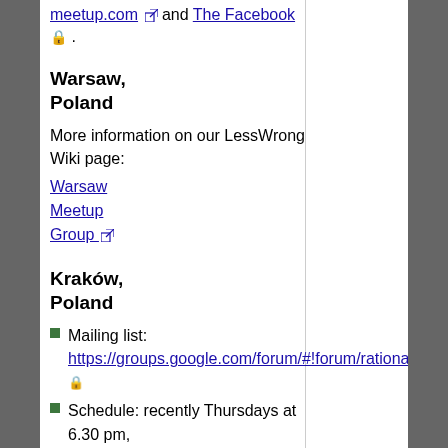meetup.com and The Facebook .
Warsaw, Poland
More information on our LessWrong Wiki page:
Warsaw Meetup Group
Kraków, Poland
Mailing list: https://groups.google.com/forum/#!forum/rationalitykrakow
Schedule: recently Thursdays at 6.30 pm,